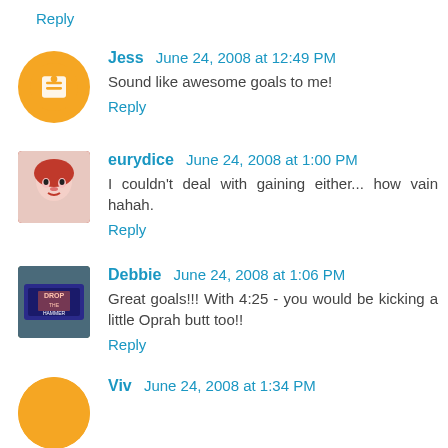Reply
Jess   June 24, 2008 at 12:49 PM
Sound like awesome goals to me!
Reply
eurydice   June 24, 2008 at 1:00 PM
I couldn't deal with gaining either... how vain hahah.
Reply
Debbie   June 24, 2008 at 1:06 PM
Great goals!!! With 4:25 - you would be kicking a little Oprah butt too!!
Reply
Viv   June 24, 2008 at 1:34 PM